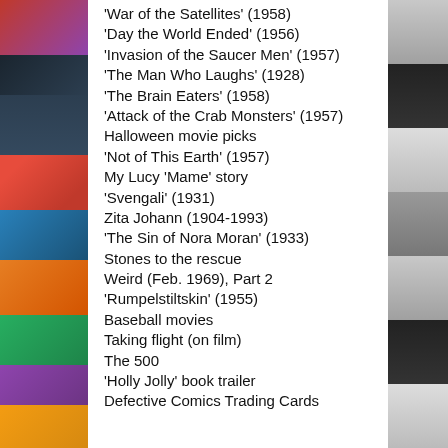[Figure (photo): Left strip: collage of colorful magazine covers and illustrations]
‘War of the Satellites’ (1958)
‘Day the World Ended’ (1956)
‘Invasion of the Saucer Men’ (1957)
‘The Man Who Laughs’ (1928)
‘The Brain Eaters’ (1958)
‘Attack of the Crab Monsters’ (1957)
Halloween movie picks
‘Not of This Earth’ (1957)
My Lucy ‘Mame’ story
‘Svengali’ (1931)
Zita Johann (1904-1993)
‘The Sin of Nora Moran’ (1933)
Stones to the rescue
Weird (Feb. 1969), Part 2
‘Rumpelstiltskin’ (1955)
Baseball movies
Taking flight (on film)
The 500
‘Holly Jolly’ book trailer
Defective Comics Trading Cards
[Figure (photo): Right strip: collage of black-and-white and color photos of people/faces]